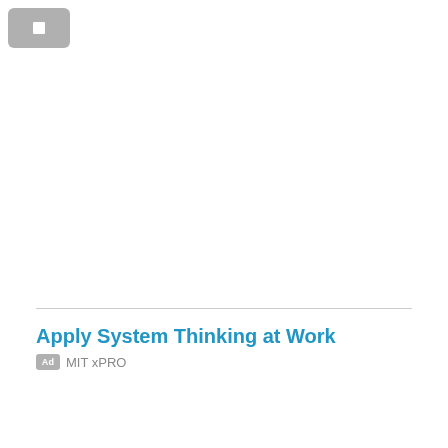[Figure (other): Gray rounded rectangle button with a white square/pause icon in the center, positioned top-left]
Apply System Thinking at Work
Ad  MIT xPRO